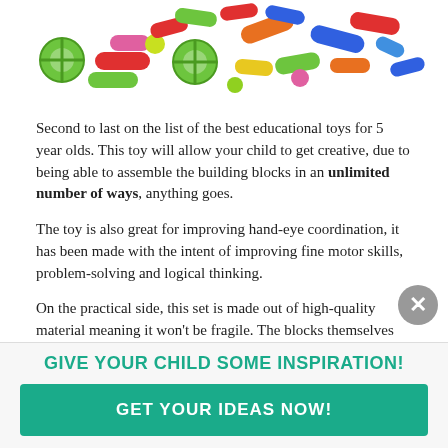[Figure (photo): Colorful plastic building block toys including tubes, wheels, and connectors in red, green, blue, orange, yellow colors scattered/arranged at top of page]
Second to last on the list of the best educational toys for 5 year olds. This toy will allow your child to get creative, due to being able to assemble the building blocks in an unlimited number of ways, anything goes.
The toy is also great for improving hand-eye coordination, it has been made with the intent of improving fine motor skills, problem-solving and logical thinking.
On the practical side, this set is made out of high-quality material meaning it won't be fragile. The blocks themselves are sturdy, easy to pick up, and also feel nice
GIVE YOUR CHILD SOME INSPIRATION!
GET YOUR IDEAS NOW!